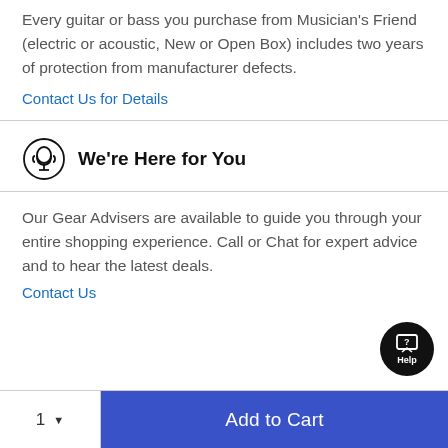Every guitar or bass you purchase from Musician's Friend (electric or acoustic, New or Open Box) includes two years of protection from manufacturer defects.
Contact Us for Details
We're Here for You
Our Gear Advisers are available to guide you through your entire shopping experience. Call or Chat for expert advice and to hear the latest deals.
Contact Us